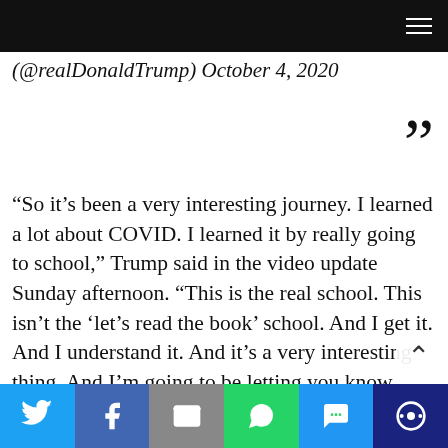Navigation menu bar
(@realDonaldTrump) October 4, 2020
“So it’s been a very interesting journey. I learned a lot about COVID. I learned it by really going to school,” Trump said in the video update Sunday afternoon. “This is the real school. This isn’t the ‘let’s read the book’ school. And I get it. And I understand it. And it’s a very interesting thing. And I’m going to be letting you know about it.”
[Figure (photo): Blurred/cropped photo of Donald Trump against a blue background]
Social share bar: Twitter, Facebook, Email, WhatsApp, SMS, More